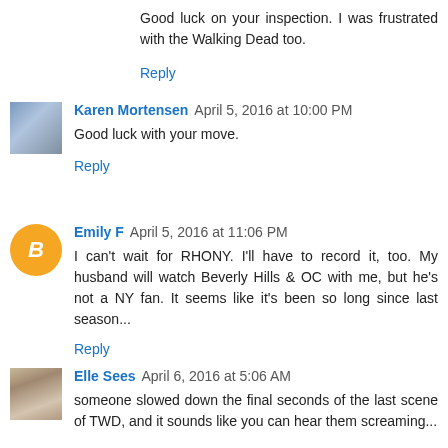Good luck on your inspection. I was frustrated with the Walking Dead too.
Reply
Karen Mortensen April 5, 2016 at 10:00 PM
Good luck with your move.
Reply
Emily F April 5, 2016 at 11:06 PM
I can't wait for RHONY. I'll have to record it, too. My husband will watch Beverly Hills & OC with me, but he's not a NY fan. It seems like it's been so long since last season...
Reply
Elle Sees April 6, 2016 at 5:06 AM
someone slowed down the final seconds of the last scene of TWD, and it sounds like you can hear them screaming...